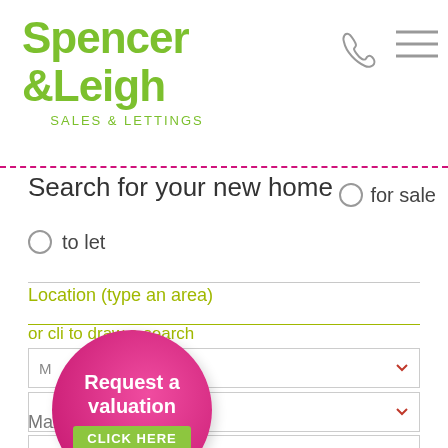[Figure (logo): Spencer & Leigh Sales & Lettings logo in green rounded bold font]
[Figure (illustration): Phone icon (outline) in grey]
[Figure (illustration): Hamburger menu icon (three horizontal lines) in grey]
Search for your new home
for sale
to let
Location (type an area)
or click to draw a search
Min. price
Max. price
Min. bedrooms
Max. bedrooms
[Figure (infographic): Pink circular bubble button with text 'Request a valuation' and green 'CLICK HERE' button inside]